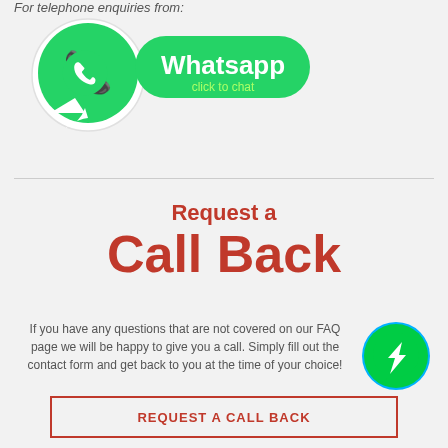For telephone enquiries from:
[Figure (logo): WhatsApp 'click to chat' button with green rounded rectangle and WhatsApp logo]
Request a Call Back
If you have any questions that are not covered on our FAQ page we will be happy to give you a call. Simply fill out the contact form and get back to you at the time of your choice!
[Figure (logo): Facebook Messenger green circle icon]
REQUEST A CALL BACK